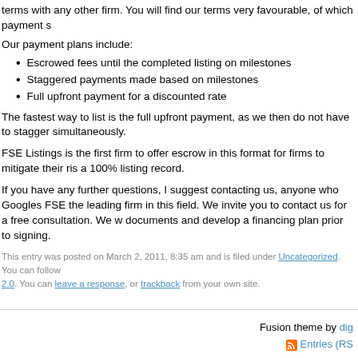terms with any other firm. You will find our terms very favourable, of which payment s
Our payment plans include:
Escrowed fees until the completed listing on milestones
Staggered payments made based on milestones
Full upfront payment for a discounted rate
The fastest way to list is the full upfront payment, as we then do not have to stagger simultaneously.
FSE Listings is the first firm to offer escrow in this format for firms to mitigate their ris a 100% listing record.
If you have any further questions, I suggest contacting us, anyone who Googles FSE the leading firm in this field. We invite you to contact us for a free consultation. We w documents and develop a financing plan prior to signing.
This entry was posted on March 2, 2011, 8:35 am and is filed under Uncategorized. You can follow 2.0. You can leave a response, or trackback from your own site.
Fusion theme by di... Entries (RS...